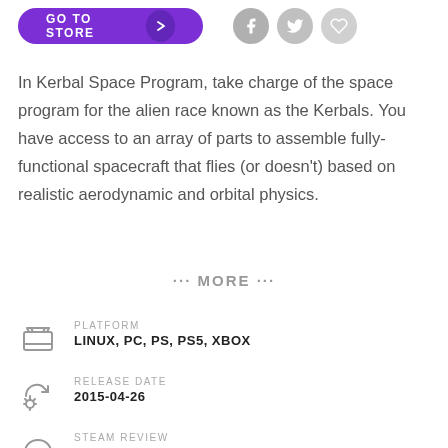[Figure (screenshot): Top bar with purple GO TO STORE button and social media icons (Facebook, Twitter, Favorite)]
In Kerbal Space Program, take charge of the space program for the alien race known as the Kerbals. You have access to an array of parts to assemble fully-functional spacecraft that flies (or doesn't) based on realistic aerodynamic and orbital physics.
··· MORE ···
PLATFORM
LINUX, PC, PS, PS5, XBOX
RELEASE DATE
2015-04-26
STEAM REVIEW
VERY POSITIVE (74077)
METACRITIC
SCORE: 88